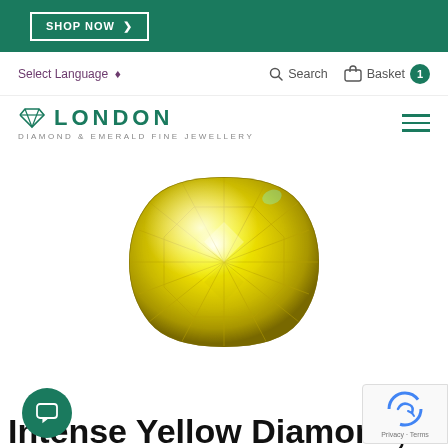SHOP NOW >
Select Language ⬦   Search   Basket  1
[Figure (logo): London Diamond & Emerald Fine Jewellery logo with diamond icon]
[Figure (photo): Vivid yellow cushion-cut diamond gem, intensely bright yellow color with sparkle facets visible]
Intense Yellow Diamond, 0.76ct